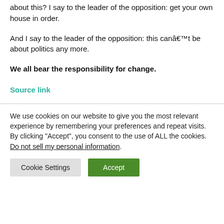about this? I say to the leader of the opposition: get your own house in order.
And I say to the leader of the opposition: this canâ€™t be about politics any more.
We all bear the responsibility for change.
Source link
We use cookies on our website to give you the most relevant experience by remembering your preferences and repeat visits. By clicking "Accept", you consent to the use of ALL the cookies. Do not sell my personal information.